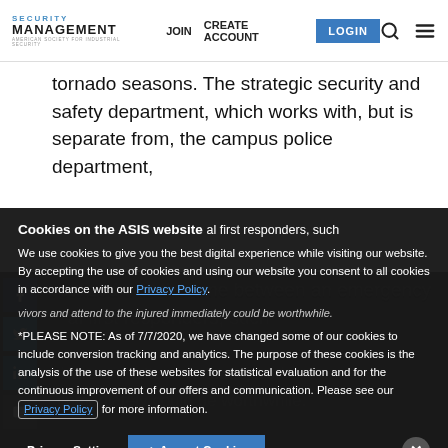SECURITY MANAGEMENT | JOIN | CREATE ACCOUNT | LOGIN
tornado seasons. The strategic security and safety department, which works with, but is separate from, the campus police department,
realized that the time between an emergency al first responders, such
vivors and attend to the injured immediately could be worthwhile.
volunteers from among the more than 9,000 faculty and staff members. The goal was to have enough volunteers to assign a person to each of the 35 buildings on the university's 384-ac...
Cookies on the ASIS website
We use cookies to give you the best digital experience while visiting our website. By accepting the use of cookies and using our website you consent to all cookies in accordance with our Privacy Policy.
*PLEASE NOTE: As of 7/7/2020, we have changed some of our cookies to include conversion tracking and analytics. The purpose of these cookies is the analysis of the use of these websites for statistical evaluation and for the continuous improvement of our offers and communication. Please see our Privacy Policy for more information.
Privacy Settings | ✓ Accept Cookies | ✕